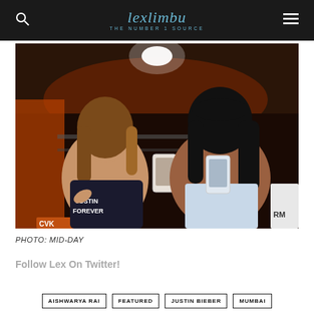lexlimbu THE NUMBER 1 SOURCE
[Figure (photo): Two young women smiling and posing outdoors at night. The woman on the left wears a dark 'JUSTIN FOREVER' t-shirt and holds up a phone case showing Justin Bieber. The woman on the right wears a light blue top and also holds up a phone case. Background shows venue/CVK signage with orange/red lighting.]
PHOTO: MID-DAY
Follow Lex On Twitter!
AISHWARYA RAI
FEATURED
JUSTIN BIEBER
MUMBAI